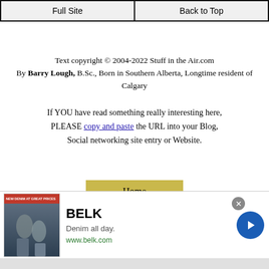Full Site | Back to Top
Text copyright © 2004-2022 Stuff in the Air.com
By Barry Lough, B.Sc., Born in Southern Alberta, Longtime resident of Calgary
If YOU have read something really interesting here, PLEASE copy and paste the URL into your Blog, Social networking site entry or Website.
[Figure (screenshot): Navigation menu with Home button in gold/yellow color]
[Figure (screenshot): Infolinks badge in dark blue, bottom left]
[Figure (screenshot): BELK advertisement banner: Denim all day. www.belk.com]